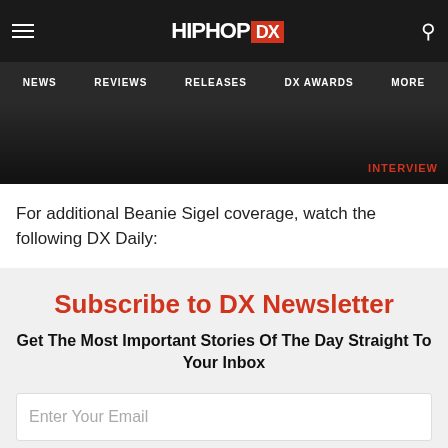HIPHOP DX — NEWS | REVIEWS | RELEASES | DX AWARDS | MORE
[Figure (photo): Dark background photo of Beanie Sigel interview with red INTERVIEW label tag in bottom right corner]
For additional Beanie Sigel coverage, watch the following DX Daily:
Subscribe to DX Newsletter
Get The Most Important Stories Of The Day Straight To Your Inbox
Enter Your Email
Subscribe